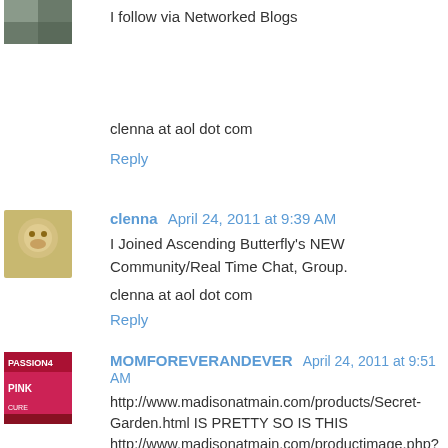I follow via Networked Blogs
clenna at aol dot com
Reply
clenna April 24, 2011 at 9:39 AM
I Joined Ascending Butterfly's NEW Community/Real Time Chat, Group.
clenna at aol dot com
Reply
MOMFOREVERANDEVER April 24, 2011 at 9:51 AM
http://www.madisonatmain.com/products/Secret-Garden.html IS PRETTY SO IS THIS http://www.madisonatmain.com/productimage.php?product_id=729 mrs.mommyyatgmail